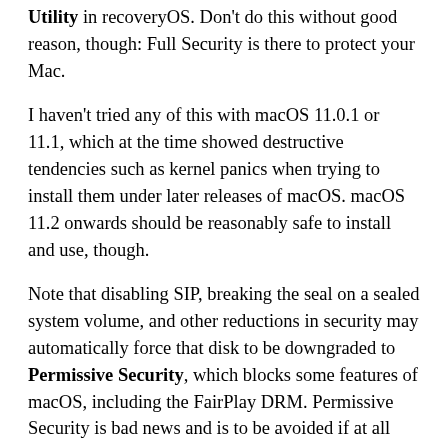Utility in recoveryOS. Don't do this without good reason, though: Full Security is there to protect your Mac.
I haven't tried any of this with macOS 11.0.1 or 11.1, which at the time showed destructive tendencies such as kernel panics when trying to install them under later releases of macOS. macOS 11.2 onwards should be reasonably safe to install and use, though.
Note that disabling SIP, breaking the seal on a sealed system volume, and other reductions in security may automatically force that disk to be downgraded to Permissive Security, which blocks some features of macOS, including the FairPlay DRM. Permissive Security is bad news and is to be avoided if at all possible.
Although you can clone the macOS container on the internal SSD, you can't clone its other two containers, and during that process it may also update their internal...